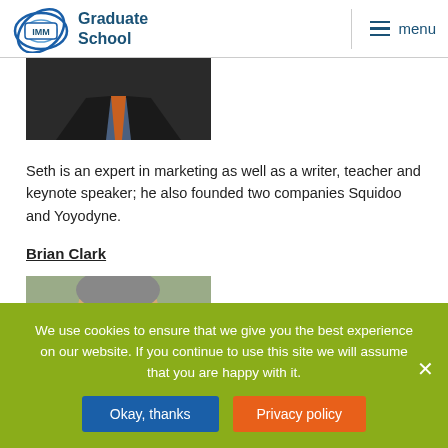IMM Graduate School
[Figure (photo): Cropped photo of a person wearing a dark suit and orange tie, only the lower portion visible]
Seth is an expert in marketing as well as a writer, teacher and keynote speaker; he also founded two companies Squidoo and Yoyodyne.
Brian Clark
[Figure (photo): Photo of Brian Clark, a man with gray hair and glasses, smiling, with a blurred background]
We use cookies to ensure that we give you the best experience on our website. If you continue to use this site we will assume that you are happy with it.